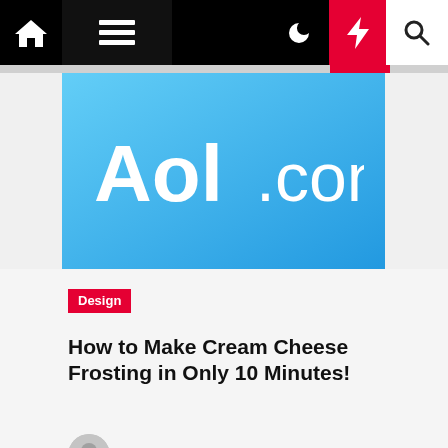Navigation bar with home, menu, moon, bolt, and search icons
[Figure (logo): AOL.com logo on a blue gradient background banner]
Design
How to Make Cream Cheese Frosting in Only 10 Minutes!
Emilee Geist  2 years ago